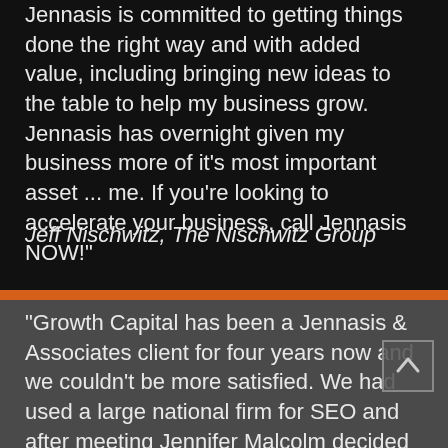Jennasis is committed to getting things done the right way and with added value, including bringing new ideas to the table to help my business grow. Jennasis has overnight given my business more of it's most important asset ... me. If you're looking to accelerate your business, call Jennasis NOW!"
Jeff Nischwitz, The Nischwitz Group
"Growth Capital has been a Jennasis & Associates client for four years now and we couldn't be more satisfied. We had used a large national firm for SEO and after meeting Jennifer Malcolm decided to move our business to a local woman-owned company and not only did we experience cost savings but the level of